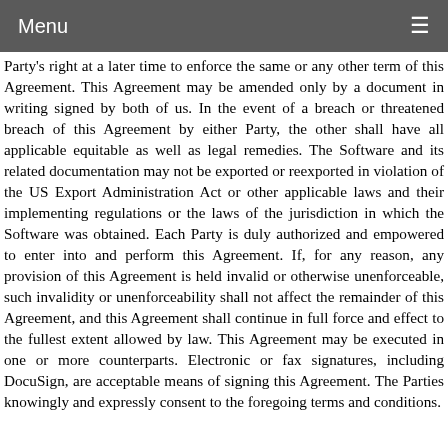Menu
Party's right at a later time to enforce the same or any other term of this Agreement. This Agreement may be amended only by a document in writing signed by both of us. In the event of a breach or threatened breach of this Agreement by either Party, the other shall have all applicable equitable as well as legal remedies. The Software and its related documentation may not be exported or reexported in violation of the US Export Administration Act or other applicable laws and their implementing regulations or the laws of the jurisdiction in which the Software was obtained. Each Party is duly authorized and empowered to enter into and perform this Agreement. If, for any reason, any provision of this Agreement is held invalid or otherwise unenforceable, such invalidity or unenforceability shall not affect the remainder of this Agreement, and this Agreement shall continue in full force and effect to the fullest extent allowed by law. This Agreement may be executed in one or more counterparts. Electronic or fax signatures, including DocuSign, are acceptable means of signing this Agreement. The Parties knowingly and expressly consent to the foregoing terms and conditions.